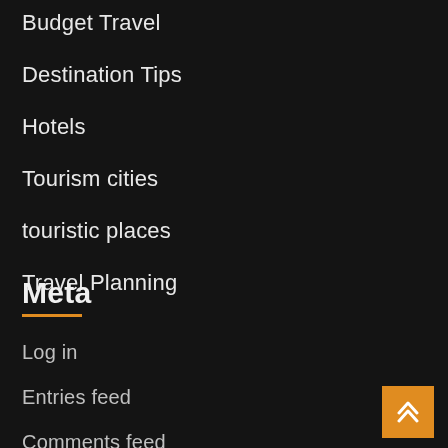Budget Travel
Destination Tips
Hotels
Tourism cities
touristic places
Travel Planning
Meta
Log in
Entries feed
Comments feed